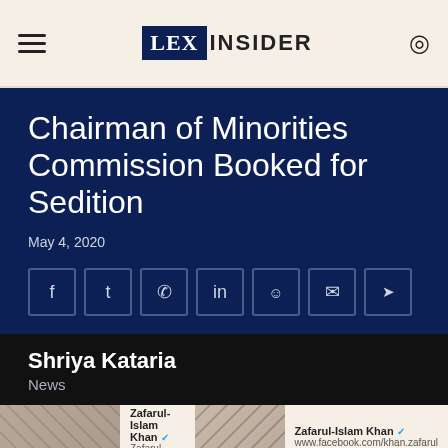LEX INSIDER
Chairman of Minorities Commission Booked for Sedition
May 4, 2020
Social share icons: Facebook, Twitter, WhatsApp, LinkedIn, Reddit, Email, Telegram
Shriya Kataria
News
[Figure (photo): Preview of social media post by Zafarul-Islam Khan with profile photo and Facebook page URL www.facebook.com/khan.zafarul]